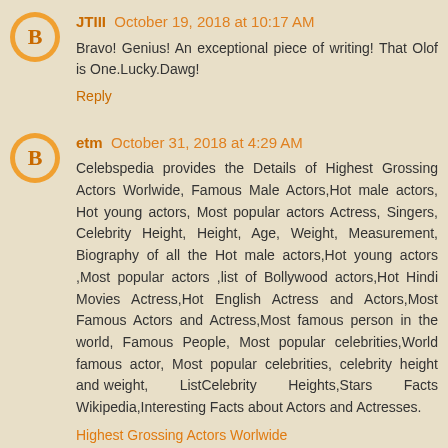JTIII  October 19, 2018 at 10:17 AM
Bravo! Genius! An exceptional piece of writing! That Olof is One.Lucky.Dawg!
Reply
etm  October 31, 2018 at 4:29 AM
Celebspedia provides the Details of Highest Grossing Actors Worlwide, Famous Male Actors,Hot male actors, Hot young actors, Most popular actors Actress, Singers, Celebrity Height, Height, Age, Weight, Measurement, Biography of all the Hot male actors,Hot young actors ,Most popular actors ,list of Bollywood actors,Hot Hindi Movies Actress,Hot English Actress and Actors,Most Famous Actors and Actress,Most famous person in the world, Famous People, Most popular celebrities,World famous actor, Most popular celebrities, celebrity height and weight, ListCelebrity Heights,Stars Facts Wikipedia,Interesting Facts about Actors and Actresses.
Highest Grossing Actors Worlwide